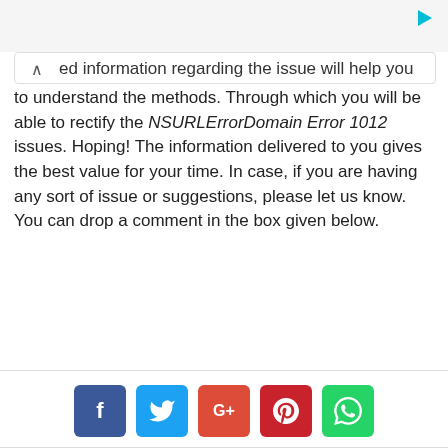ed information regarding the issue will help you to understand the methods. Through which you will be able to rectify the NSURLErrorDomain Error 1012 issues. Hoping! The information delivered to you gives the best value for your time. In case, if you are having any sort of issue or suggestions, please let us know. You can drop a comment in the box given below.
[Figure (infographic): Social share buttons: Facebook (blue), Twitter (cyan/blue), Google+ (red-orange), Pinterest (red), WhatsApp (green)]